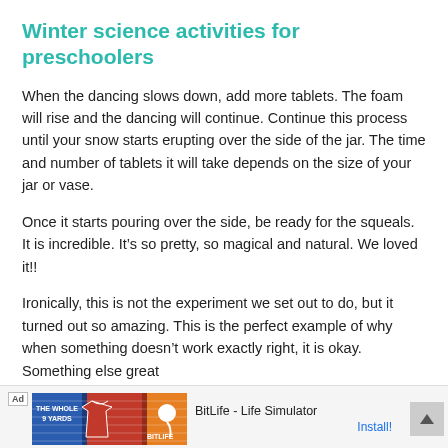Winter science activities for preschoolers
When the dancing slows down, add more tablets. The foam will rise and the dancing will continue. Continue this process until your snow starts erupting over the side of the jar. The time and number of tablets it will take depends on the size of your jar or vase.
Once it starts pouring over the side, be ready for the squeals. It is incredible. It’s so pretty, so magical and natural. We loved it!!
Ironically, this is not the experiment we set out to do, but it turned out so amazing. This is the perfect example of why when something doesn’t work exactly right, it is okay. Something else great
[Figure (other): Advertisement banner at the bottom of the page. Shows 'Ad' label, a soccer/sports game image on the left, BitLife - Life Simulator orange logo on the right, app name 'BitLife - Life Simulator' and an 'Install!' link in blue.]